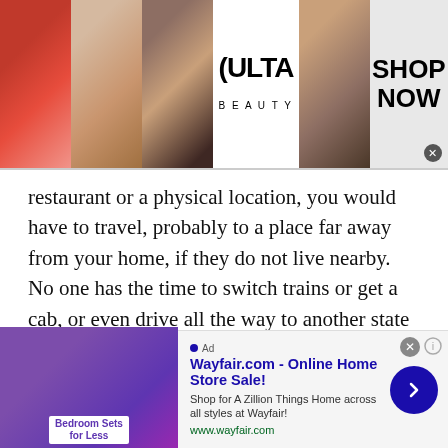[Figure (screenshot): Ulta Beauty advertisement banner with beauty/makeup imagery and 'SHOP NOW' call to action]
restaurant or a physical location, you would have to travel, probably to a place far away from your home, if they do not live nearby. No one has the time to switch trains or get a cab, or even drive all the way to another state just to meet up with a stranger.
Travelling is not only time consuming, but it is also quite hectic and tiresome. Plus, in today's fast paced world no one can take out the time to travel somewhere far off. It is almost impossible to clear one's schedule for one's own
[Figure (screenshot): Wayfair.com online advertisement: 'Wayfair.com - Online Home Store Sale! Shop for A Zillion Things Home across all styles at Wayfair! www.wayfair.com']